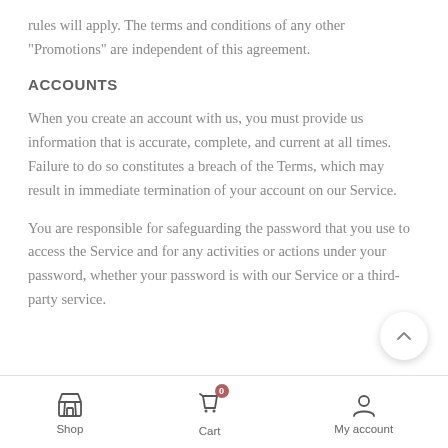rules will apply. The terms and conditions of any other “Promotions” are independent of this agreement.
ACCOUNTS
When you create an account with us, you must provide us information that is accurate, complete, and current at all times. Failure to do so constitutes a breach of the Terms, which may result in immediate termination of your account on our Service.
You are responsible for safeguarding the password that you use to access the Service and for any activities or actions under your password, whether your password is with our Service or a third-party service.
Shop  Cart  My account